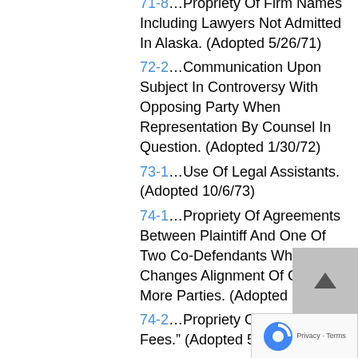71-8…Propriety Of Firm Names Including Lawyers Not Admitted In Alaska. (Adopted 5/26/71)
72-2…Communication Upon Subject In Controversy With Opposing Party When Representation By Counsel In Question. (Adopted 1/30/72)
73-1…Use Of Legal Assistants. (Adopted 10/6/73)
74-1…Propriety Of Agreements Between Plaintiff And One Of Two Co-Defendants Which Changes Alignment Of One Or More Parties. (Adopted 5/15/74)
74-2…Propriety Of “Referral Fees.” (Adopted 5/15/74)
74-3…Propriety Of A Contingent Fee Contract When Client Can Afford To Pay For Services At An Hourly Rate. (Adopted 10/11/74) (See 76-5)
76-1…Propriety Of An Attorney Who Is A Member Of A Legislative Body Or